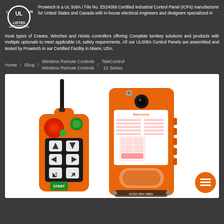Prowinch is a UL 508A / File No. E524056 Certified Industrial Control Panel (ICPs) manufacturer for United States and Canada with in-house electrical engineers and designers specialized in most types of Cranes, Winches and Hoists controllers offering Complete turnkey solutions and products with multiple optionals to meet applicable UL safety requirements. All our UL508A Control Panels are assembled and tested by Prowinch in our Certified Facility in Miami, USA.
Home / Shop / Wireless Remote Controls Wireless Remote Controls / TeleControl 21 Series
[Figure (photo): Photo of TeleControl 21 Series wireless remote control system showing an orange handheld transmitter with antenna, red emergency stop button, green button, directional control buttons, and START button, alongside an orange receiver unit with label panel and AC/DC 85V-485V marking.]